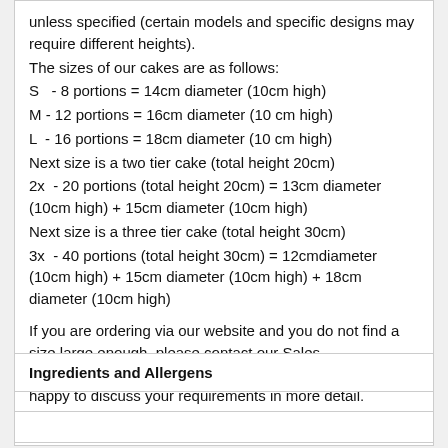unless specified (certain models and specific designs may require different heights).
The sizes of our cakes are as follows:
S   - 8 portions = 14cm diameter (10cm high)
M - 12 portions = 16cm diameter (10 cm high)
L  - 16 portions = 18cm diameter (10 cm high)
Next size is a two tier cake (total height 20cm)
2x  - 20 portions (total height 20cm) = 13cm diameter (10cm high) + 15cm diameter (10cm high)
Next size is a three tier cake (total height 30cm)
3x  - 40 portions (total height 30cm) = 12cmdiameter (10cm high) + 15cm diameter (10cm high) + 18cm diameter (10cm high)

If you are ordering via our website and you do not find a size large enough, please contact our Sales Representatives via our Contact Us form and we will be happy to discuss your requirements in more detail.
Flavours:
Ingredients and Allergens